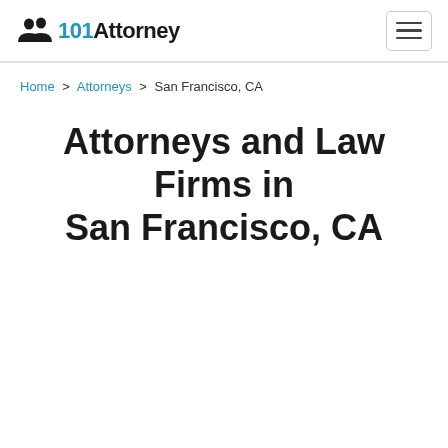101Attorney — navigation header with logo and hamburger menu
Home > Attorneys > San Francisco, CA
Attorneys and Law Firms in San Francisco, CA